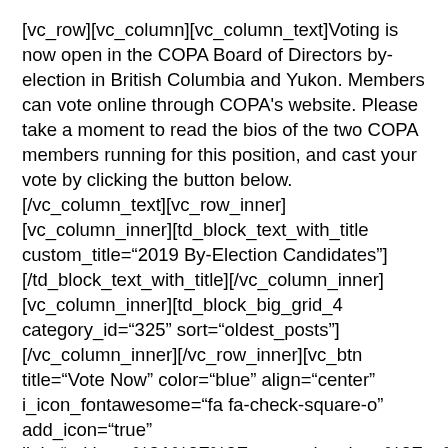[vc_row][vc_column][vc_column_text]Voting is now open in the COPA Board of Directors by-election in British Columbia and Yukon. Members can vote online through COPA's website. Please take a moment to read the bios of the two COPA members running for this position, and cast your vote by clicking the button below.[/vc_column_text][vc_row_inner][vc_column_inner][td_block_text_with_title custom_title="2019 By-Election Candidates"][/td_block_text_with_title][/vc_column_inner][vc_column_inner][td_block_big_grid_4 category_id="325" sort="oldest_posts"][/vc_column_inner][/vc_row_inner][vc_btn title="Vote Now" color="blue" align="center" i_icon_fontawesome="fa fa-check-square-o" add_icon="true" link="url:https%3A%2F%2Fcopanational.org%2Fen%2Fcivicrm%2F%3Fpage%3DCiviCRM%26q%3Dcivicrm%2Fvote%26vote%3D1||target:%20_blank|"][td_block_text_with_title custom_title="Voting by Paper Ballot"]Paper ballots are available on request for members